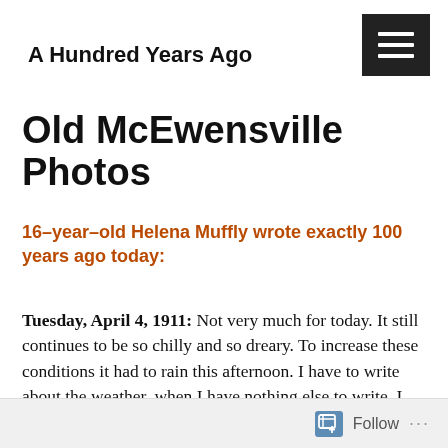A Hundred Years Ago
Old McEwensville Photos
16-year-old Helena Muffly wrote exactly 100 years ago today:
Tuesday, April 4, 1911: Not very much for today. It still continues to be so chilly and so dreary. To increase these conditions it had to rain this afternoon. I have to write about the weather, when I have nothing else to write. I don't believe Thursday is going to be the beautiful day I want it to be!
Follow